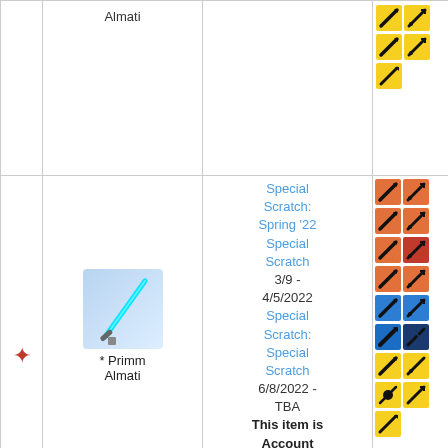|  | Item | Source | Badges |
| --- | --- | --- | --- |
|  | Almati |  | yellow+black icons x5 |
| star | * Primm Almati | Special Scratch: Spring '22 Special Scratch 3/9 - 4/5/2022 Special Scratch: Special Scratch 6/8/2022 - TBA This item is Account Bound | orange+blue+yellow icons x10+ |